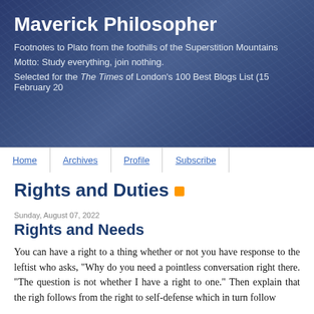Maverick Philosopher
Footnotes to Plato from the foothills of the Superstition Mountains
Motto: Study everything, join nothing.
Selected for the The Times of London's 100 Best Blogs List (15 February 20...
Home | Archives | Profile | Subscribe
Rights and Duties
Sunday, August 07, 2022
Rights and Needs
You can have a right to a thing whether or not you have response to the leftist who asks, "Why do you need a pointless conversation right there. "The question is not whether I have a right to one." Then explain that the righ follows from the right to self-defense which in turn follow